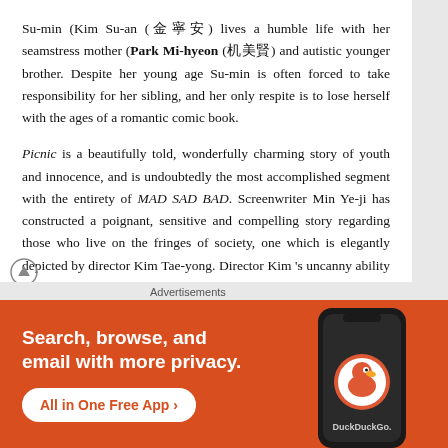Su-min (Kim Su-an (김수안) lives a humble life with her seamstress mother (Park Mi-hyeon (박미현) and autistic younger brother. Despite her young age Su-min is often forced to take responsibility for her sibling, and her only respite is to lose herself with the ages of a romantic comic book.
Picnic is a beautifully told, wonderfully charming story of youth and innocence, and is undoubtedly the most accomplished segment with the entirety of MAD SAD BAD. Screenwriter Min Ye-ji has constructed a poignant, sensitive and compelling story regarding those who live on the fringes of society, one which is elegantly depicted by director Kim Tae-yong. Director Kim 's uncanny ability to deeply understand and convey his characters motivations is once
Advertisements
[Figure (infographic): DuckDuckGo advertisement banner with orange background. Text reads: Search, browse, and email with more privacy. All in One Free App. Shows a smartphone with DuckDuckGo logo.]